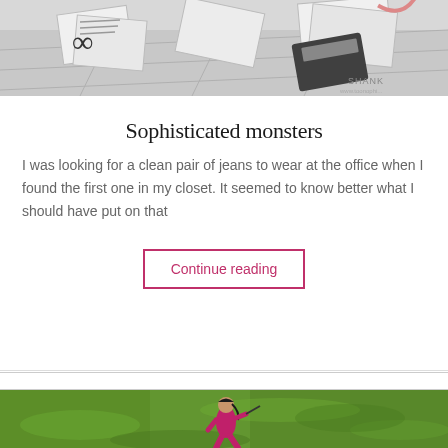[Figure (illustration): Illustrated image showing scattered papers, an infinity symbol, a calculator, and other office items arranged on a surface. Watermark 'SHANK' visible in lower right.]
Sophisticated monsters
I was looking for a clean pair of jeans to wear at the office when I found the first one in my closet. It seemed to know better what I should have put on that
Continue reading
[Figure (photo): Photo of a child in a pink/magenta outfit running or playing in a green grassy field, holding a stick.]